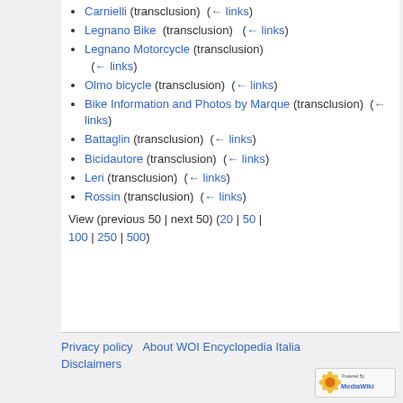Carnielli (transclusion) (← links)
Legnano Bike (transclusion) (← links)
Legnano Motorcycle (transclusion) (← links)
Olmo bicycle (transclusion) (← links)
Bike Information and Photos by Marque (transclusion) (← links)
Battaglin (transclusion) (← links)
Bicidautore (transclusion) (← links)
Leri (transclusion) (← links)
Rossin (transclusion) (← links)
View (previous 50 | next 50) (20 | 50 | 100 | 250 | 500)
Privacy policy   About WOI Encyclopedia Italia   Disclaimers